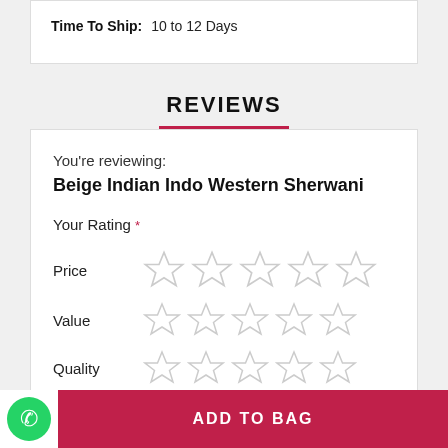Time To Ship:  10 to 12 Days
REVIEWS
You're reviewing:
Beige Indian Indo Western Sherwani
Your Rating *
Price ☆☆☆☆☆
Value ☆☆☆☆☆
Quality ☆☆☆☆☆
ADD TO BAG